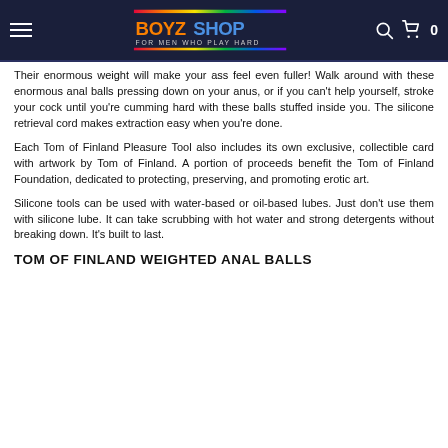BOYZ SHOP — FOR MEN WHO PLAY HARD
Their enormous weight will make your ass feel even fuller! Walk around with these enormous anal balls pressing down on your anus, or if you can't help yourself, stroke your cock until you're cumming hard with these balls stuffed inside you. The silicone retrieval cord makes extraction easy when you're done.
Each Tom of Finland Pleasure Tool also includes its own exclusive, collectible card with artwork by Tom of Finland. A portion of proceeds benefit the Tom of Finland Foundation, dedicated to protecting, preserving, and promoting erotic art.
Silicone tools can be used with water-based or oil-based lubes. Just don't use them with silicone lube. It can take scrubbing with hot water and strong detergents without breaking down. It's built to last.
TOM OF FINLAND WEIGHTED ANAL BALLS